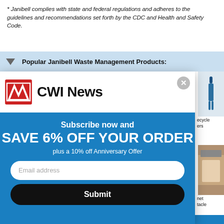* Janibell complies with state and federal regulations and adheres to the guidelines and recommendations set forth by the CDC and Health and Safety Code.
Popular Janibell Waste Management Products:
[Figure (screenshot): CWI News newsletter subscription modal popup. Contains CWI News logo, blue body with 'Subscribe now and SAVE 6% OFF YOUR ORDER plus a 10% off Anniversary Offer', an email address input field, and a Submit button.]